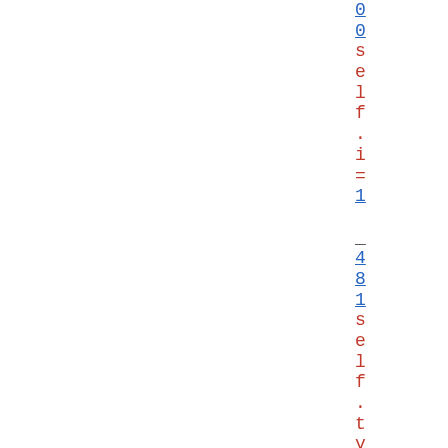0
0
s
e
l
f
.
i
=
1

_
4
8
1
s
e
l
f
.
t
y
=
0

_
4
8